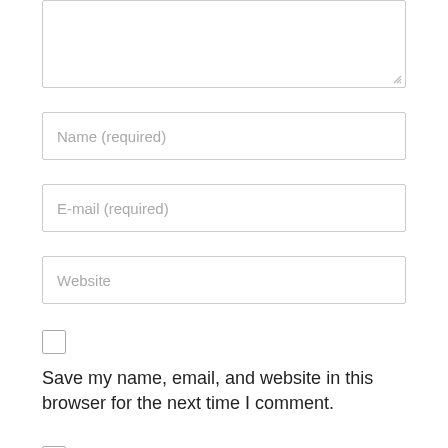[Figure (screenshot): Textarea input box, empty, with resize handle at bottom right]
Name (required)
E-mail (required)
Website
Save my name, email, and website in this browser for the next time I comment.
Notify me of follow-up comments by email.